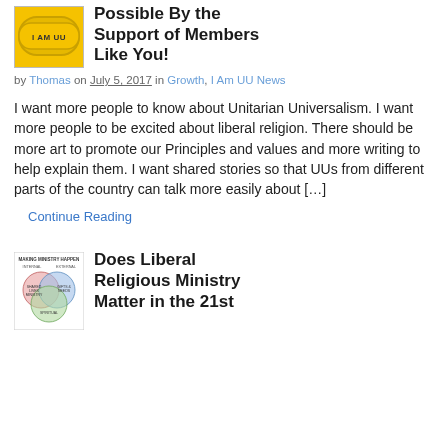[Figure (photo): Yellow 'I AM UU' rubber bracelet thumbnail]
Possible By the Support of Members Like You!
by Thomas on July 5, 2017 in Growth, I Am UU News
I want more people to know about Unitarian Universalism. I want more people to be excited about liberal religion. There should be more art to promote our Principles and values and more writing to help explain them. I want shared stories so that UUs from different parts of the country can talk more easily about […]
Continue Reading
[Figure (illustration): Venn diagram titled 'Making Ministry Happen' with overlapping circles labeled Internal and External]
Does Liberal Religious Ministry Matter in the 21st